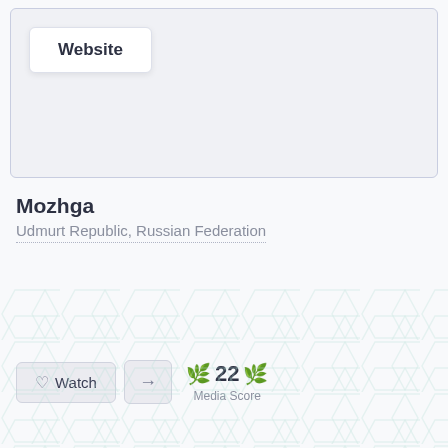Website
Mozhga
Udmurt Republic, Russian Federation
Watch
22 Media Score